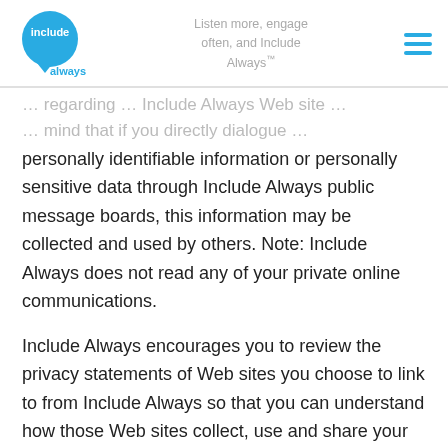Listen more, engage often, and Include Always™
personally identifiable information or personally sensitive data through Include Always public message boards, this information may be collected and used by others. Note: Include Always does not read any of your private online communications.
Include Always encourages you to review the privacy statements of Web sites you choose to link to from Include Always so that you can understand how those Web sites collect, use and share your information. Include Always is not responsible for the privacy statements or other content on Web sites outside of the Include Always and Include Always family of Web sites.